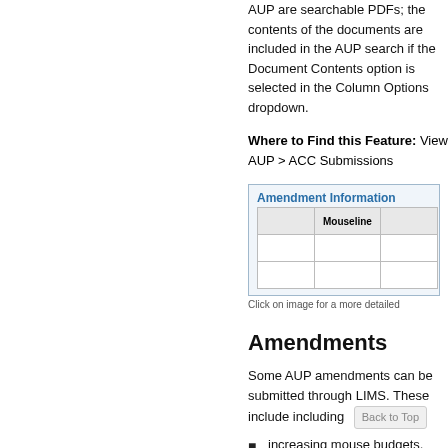AUP are searchable PDFs; the contents of the documents are included in the AUP search if the Document Contents option is selected in the Column Options dropdown.
Where to Find this Feature: View AUP > ACC Submissions
[Figure (screenshot): Screenshot showing Amendment Information panel with a Mouseline column header and table rows]
Click on image for a more detailed
Amendments
Some AUP amendments can be submitted through LIMS. These include including
increasing mouse budgets,